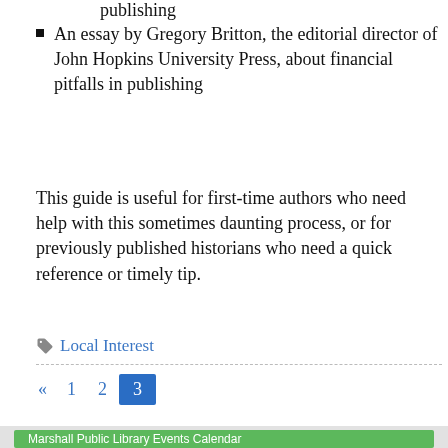publishing
An essay by Gregory Britton, the editorial director of John Hopkins University Press, about financial pitfalls in publishing
This guide is useful for first-time authors who need help with this sometimes daunting process, or for previously published historians who need a quick reference or timely tip.
Local Interest
« 1 2 3
Marshall Public Library Events Calendar
Marshall Public Library Events
Today ◄ ► Thursday, August 25 ▼ Print Week Mor